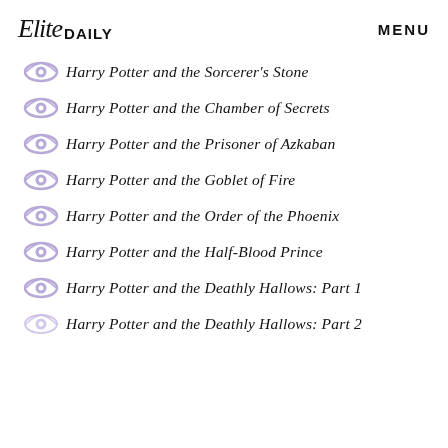Elite DAILY   MENU
Harry Potter and the Sorcerer's Stone
Harry Potter and the Chamber of Secrets
Harry Potter and the Prisoner of Azkaban
Harry Potter and the Goblet of Fire
Harry Potter and the Order of the Phoenix
Harry Potter and the Half-Blood Prince
Harry Potter and the Deathly Hallows: Part 1
Harry Potter and the Deathly Hallows: Part 2